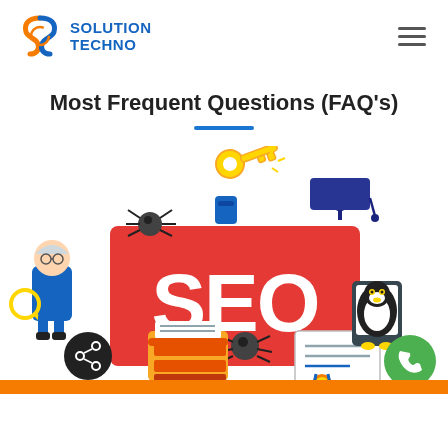SOLUTION TECHNO
Most Frequent Questions (FAQ's)
[Figure (illustration): SEO FAQ illustration: a large red sign reading 'SEO' in white bold letters, surrounded by cartoon characters including an elderly woman with magnifying glass, a penguin with a tablet, a person holding a key, a graduation cap, a typewriter, a certificate with ribbon, a WhatsApp icon, spiders, and a share button.]